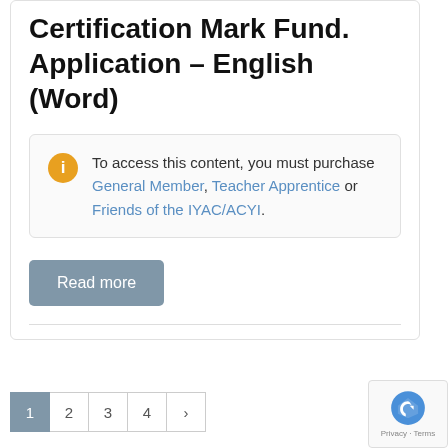Certification Mark Fund. Application – English (Word)
To access this content, you must purchase General Member, Teacher Apprentice or Friends of the IYAC/ACYI.
Read more
1 2 3 4 >